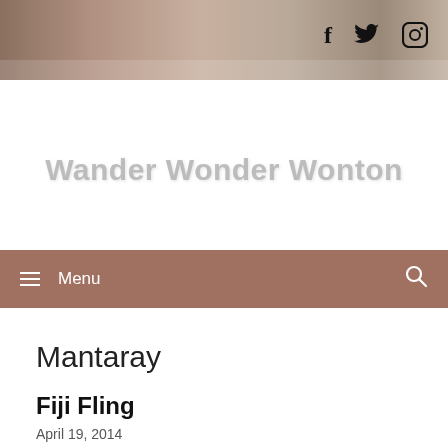[Figure (photo): Partial header image with blurred/cropped photograph]
[Figure (infographic): Social media icons: Facebook (f), Twitter (bird), Instagram (camera)]
Wander Wonder Wonton
Menu
Mantaray
Fiji Fling
April 19, 2014